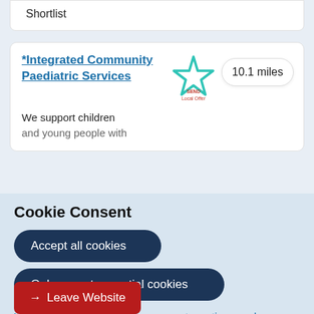Shortlist
*Integrated Community Paediatric Services
10.1 miles
SEND Local Offer
We support children and young people with
Cookie Consent
Accept all cookies
Only accept essential cookies
You can change your preferences at any time, and you can read more about our cookies before you choose.
Leave Website